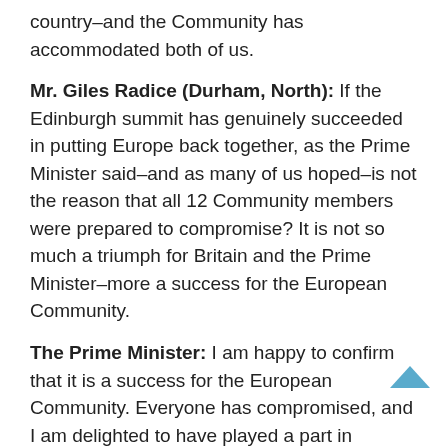country–and the Community has accommodated both of us.
Mr. Giles Radice (Durham, North): If the Edinburgh summit has genuinely succeeded in putting Europe back together, as the Prime Minister said–and as many of us hoped–is not the reason that all 12 Community members were prepared to compromise? It is not so much a triumph for Britain and the Prime Minister–more a success for the European Community.
The Prime Minister: I am happy to confirm that it is a success for the European Community. Everyone has compromised, and I am delighted to have played a part in bringing them to that compromise.
Sir Peter Hordern (Horsham): Is not one of the most encouraging features of the agreement the